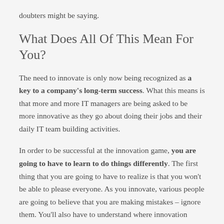doubters might be saying.
What Does All Of This Mean For You?
The need to innovate is only now being recognized as a key to a company's long-term success. What this means is that more and more IT managers are being asked to be more innovative as they go about doing their jobs and their daily IT team building activities.
In order to be successful at the innovation game, you are going to have to learn to do things differently. The first thing that you are going to have to realize is that you won't be able to please everyone. As you innovate, various people are going to believe that you are making mistakes – ignore them. You'll also have to understand where innovation comes from. It turns out that the best innovation comes from the IT managers who are willing